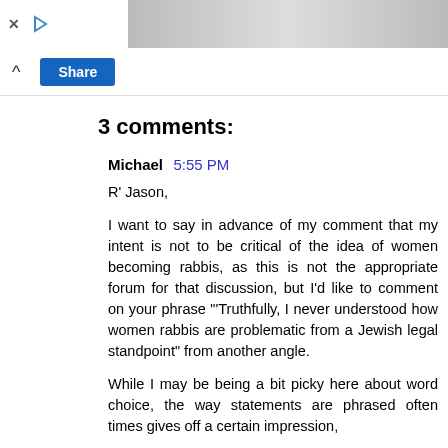[Figure (photo): Advertisement banner with photos of people and ad control icons (X and play button)]
[Figure (screenshot): Share button UI element with chevron up icon and blue Share button]
3 comments:
Michael 5:55 PM
R' Jason,
I want to say in advance of my comment that my intent is not to be critical of the idea of women becoming rabbis, as this is not the appropriate forum for that discussion, but I'd like to comment on your phrase "'Truthfully, I never understood how women rabbis are problematic from a Jewish legal standpoint" from another angle.
While I may be being a bit picky here about word choice, the way statements are phrased often times gives off a certain impression,